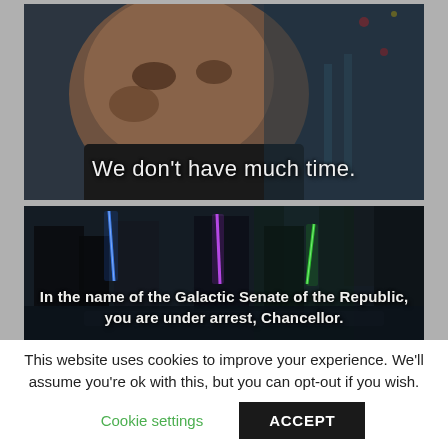[Figure (screenshot): Movie still from Star Wars showing a close-up of a character's face with subtitle text: 'We don't have much time.']
[Figure (screenshot): Movie still from Star Wars showing Jedi with lightsabers (blue, purple, green) with subtitle text: 'In the name of the Galactic Senate of the Republic, you are under arrest, Chancellor.']
This website uses cookies to improve your experience. We'll assume you're ok with this, but you can opt-out if you wish.
Cookie settings
ACCEPT